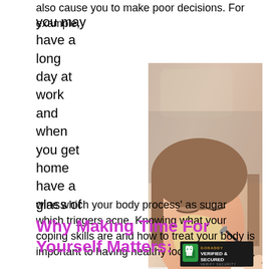also cause you to make poor decisions. For example, you may have a long day at work and when you get home have a glass of wine which your body process' as sugar which triggers acne. Knowing what your coping skills are and how to treat your body is important to having healthy looking skin.
[Figure (photo): A woman lying down receiving a facial treatment with a brush applying a cream/mask to her face]
Why Making Time For Yourself Matters:
[Figure (logo): GoDaddy Verified & Secured badge with lock icon]